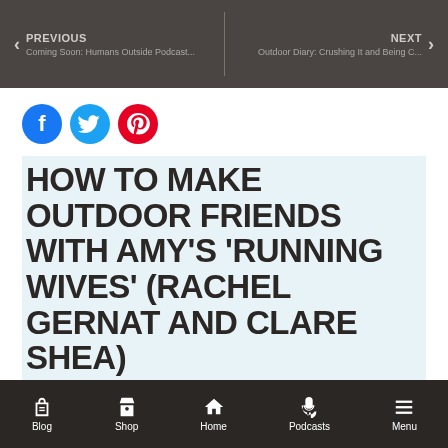PREVIOUS Coming Soon: Humans Outside Podcast... | NEXT Outdoor Diary: Crushing It and Being C...
[Figure (infographic): Social sharing icons: Facebook (blue circle), Twitter (light blue circle), Pinterest (red circle)]
HOW TO MAKE OUTDOOR FRIENDS WITH AMY'S 'RUNNING WIVES' (RACHEL GERNAT AND CLARE SHEA)
JUMP TO SECTION
Blog  Shop  Home  Podcasts  Menu